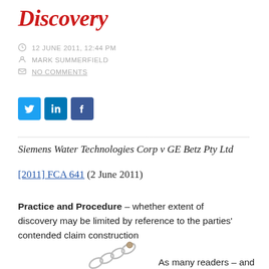Discovery
12 JUNE 2011, 12:44 PM
MARK SUMMERFIELD
NO COMMENTS
[Figure (other): Social media share buttons: Twitter (blue bird), LinkedIn (blue), Facebook (blue f)]
Siemens Water Technologies Corp v GE Betz Pty Ltd [2011] FCA 641 (2 June 2011)
Practice and Procedure – whether extent of discovery may be limited by reference to the parties' contended claim construction
[Figure (illustration): Partial image of a chain at the bottom of the page, with text 'As many readers – and']